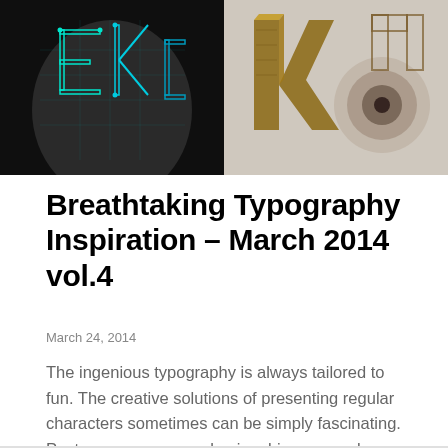[Figure (photo): Two typography artwork images side by side. Left: dark background with neon cyan/teal geometric letterforms. Right: beige/tan background with hand-drawn 3D wooden block letters.]
Breathtaking Typography Inspiration – March 2014 vol.4
March 24, 2014
The ingenious typography is always tailored to fun. The creative solutions of presenting regular characters sometimes can be simply fascinating. Posters, resumes, packaging, bisness cards, brand identity – almost everything…